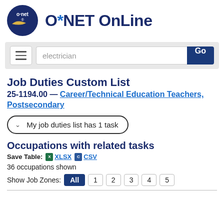[Figure (logo): O*NET logo: dark blue circle with 'o·net' text and yellow swoosh, followed by 'O*NET OnLine' title text in dark navy bold font]
[Figure (screenshot): Search bar area with hamburger menu button on left, text input field showing 'electrician', and blue 'Go' button on right]
Job Duties Custom List
25-1194.00 — Career/Technical Education Teachers, Postsecondary
My job duties list has 1 task
Occupations with related tasks
Save Table: XLSX CSV
36 occupations shown
Show Job Zones: All 1 2 3 4 5